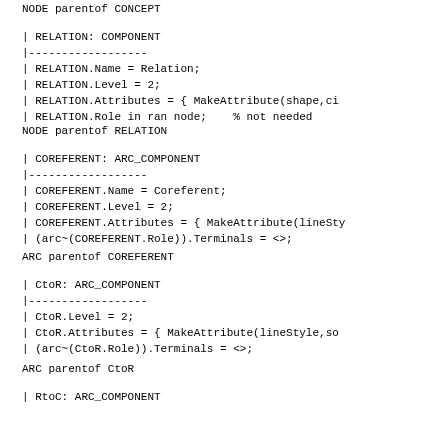NODE parentof CONCEPT
| RELATION: COMPONENT
|------------------
| RELATION.Name = Relation;
| RELATION.Level = 2;
| RELATION.Attributes = { MakeAttribute(shape,ci
| RELATION.Role in ran node;    % not needed
NODE parentof RELATION
| COREFERENT: ARC_COMPONENT
|------------------
| COREFERENT.Name = Coreferent;
| COREFERENT.Level = 2;
| COREFERENT.Attributes = { MakeAttribute(lineSty
| (arc~(COREFERENT.Role)).Terminals = <>;
ARC parentof COREFERENT
| CtoR: ARC_COMPONENT
|------------------
| CtoR.Level = 2;
| CtoR.Attributes = { MakeAttribute(lineStyle,so
| (arc~(CtoR.Role)).Terminals = <>;
ARC parentof CtoR
| RtoC: ARC_COMPONENT